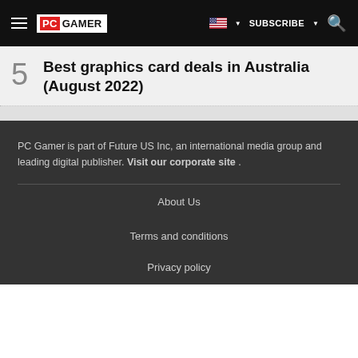PC GAMER | SUBSCRIBE
5 Best graphics card deals in Australia (August 2022)
PC Gamer is part of Future US Inc, an international media group and leading digital publisher. Visit our corporate site .
About Us
Terms and conditions
Privacy policy